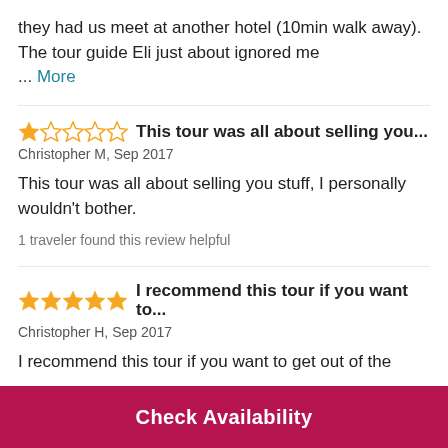they had us meet at another hotel (10min walk away). The tour guide Eli just about ignored me
... More
This tour was all about selling you...
Christopher M, Sep 2017
This tour was all about selling you stuff, I personally wouldn't bother.
1 traveler found this review helpful
I recommend this tour if you want to...
Christopher H, Sep 2017
I recommend this tour if you want to get out of the
Check Availability